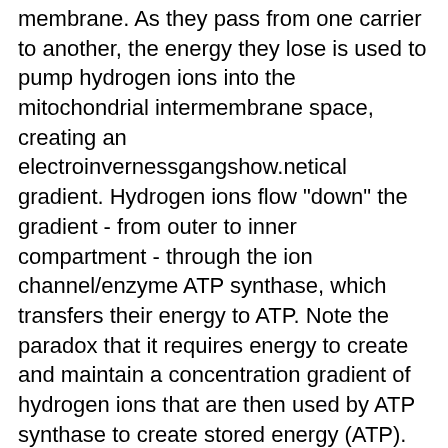membrane. As they pass from one carrier to another, the energy they lose is used to pump hydrogen ions into the mitochondrial intermembrane space, creating an electroinvernessgangshow.netical gradient. Hydrogen ions flow "down" the gradient - from outer to inner compartment - through the ion channel/enzyme ATP synthase, which transfers their energy to ATP. Note the paradox that it requires energy to create and maintain a concentration gradient of hydrogen ions that are then used by ATP synthase to create stored energy (ATP). In broad terms, it takes energy to make energy. Coupling the electron transport chain to ATP synthesis with a hydrogen ion gradient is     invernessgangshow.netiosmosis     , first described by Nobel laureate Peter D. Mitchell. This process, the use of energy to phosphorylate ADP and produce ATP is also known as oxidative phosphorylation.